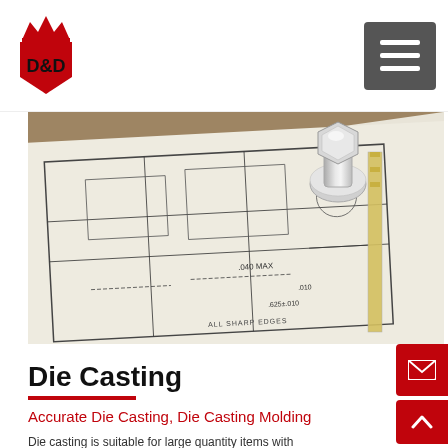D&D logo and navigation menu
[Figure (photo): Close-up photo of engineering/technical blueprints with a metallic bolt or fastener component resting on the drawings. The blueprints show dimensions and technical specifications including .040 MAX, .010, .625±.010, ALL SHARP EDGES markings.]
Die Casting
Accurate Die Casting, Die Casting Molding
Die casting is suitable for large quantity items with